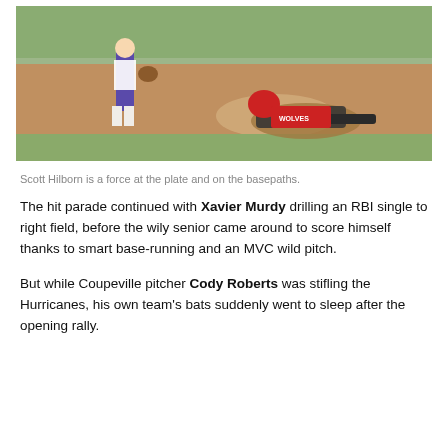[Figure (photo): A baseball/softball player in a red helmet and dark jersey slides into a base while a fielder in a white and purple uniform stands nearby. Dirt and grass visible on the field.]
Scott Hilborn is a force at the plate and on the basepaths.
The hit parade continued with Xavier Murdy drilling an RBI single to right field, before the wily senior came around to score himself thanks to smart base-running and an MVC wild pitch.
But while Coupeville pitcher Cody Roberts was stifling the Hurricanes, his own team's bats suddenly went to sleep after the opening rally.